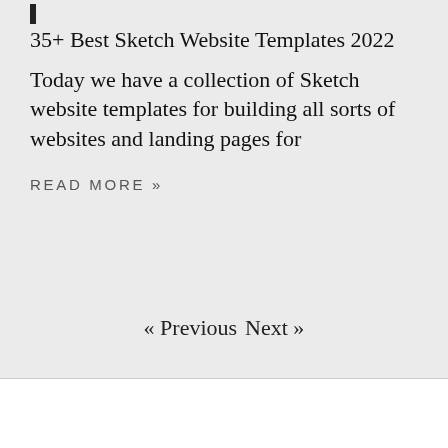35+ Best Sketch Website Templates 2022
Today we have a collection of Sketch website templates for building all sorts of websites and landing pages for
READ MORE »
« Previous  Next »